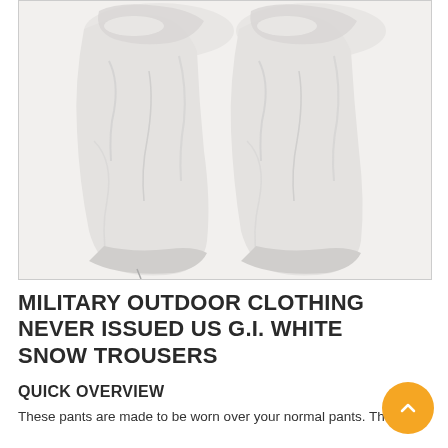[Figure (photo): White snow trousers/pants laid flat, showing two pant legs side by side against a white background]
MILITARY OUTDOOR CLOTHING NEVER ISSUED US G.I. WHITE SNOW TROUSERS
QUICK OVERVIEW
These pants are made to be worn over your normal pants. The